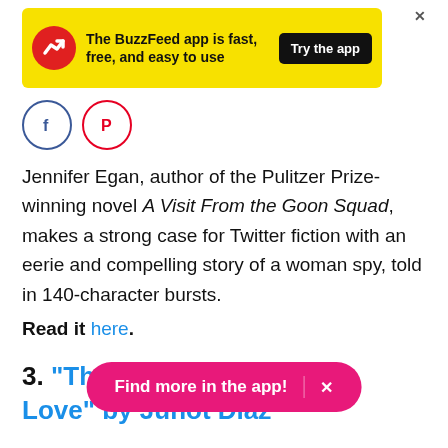[Figure (screenshot): BuzzFeed app advertisement banner with yellow background, red circular logo with white arrow, text 'The BuzzFeed app is fast, free, and easy to use', and a black 'Try the app' button.]
[Figure (illustration): Two social sharing icon circles: Facebook (blue) and Pinterest (red).]
Jennifer Egan, author of the Pulitzer Prize-winning novel A Visit From the Goon Squad, makes a strong case for Twitter fiction with an eerie and compelling story of a woman spy, told in 140-character bursts.
Read it here.
3. "The Cheater's Guide to Love" by Junot Díaz
Find more in the app! ×